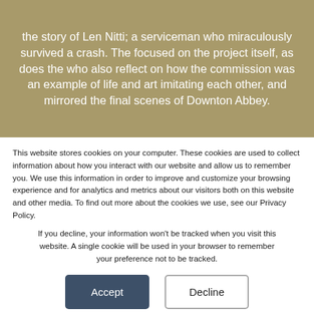the story of Len Nitti; a serviceman who miraculously survived a crash. The focused on the project itself, as does the who also reflect on how the commission was an example of life and art imitating each other, and mirrored the final scenes of Downton Abbey.
This website stores cookies on your computer. These cookies are used to collect information about how you interact with our website and allow us to remember you. We use this information in order to improve and customize your browsing experience and for analytics and metrics about our visitors both on this website and other media. To find out more about the cookies we use, see our Privacy Policy.
If you decline, your information won't be tracked when you visit this website. A single cookie will be used in your browser to remember your preference not to be tracked.